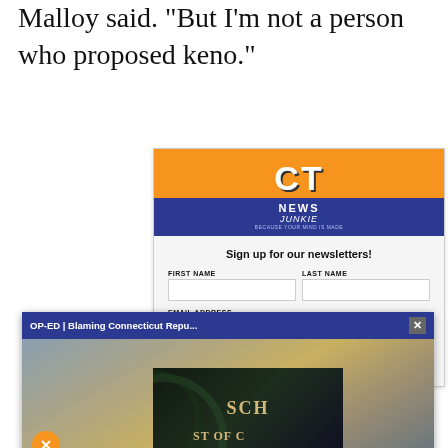Malloy said. “But I’m not a person who proposed keno.”
[Figure (screenshot): CT News Junkie newsletter signup form with orange and blue header logo, fields for First Name, Last Name, and Email Address, and a blue submit button.]
[Figure (screenshot): Popup video overlay with title bar reading 'OP-ED | Blaming Connecticut Repu...' with close button, a thumbnail image of a city skyline, a mute button, and caption text: 'OP-ED | BLAMING CONNECTICUT REPUBLICANS FOR OVERDUE REFORMS? THAT’S A STRETCH | CT NEWS JUNKIE']
[Figure (photo): Partial image of what appears to be a dark decorative advertisement with gold text starting with 'SCH' and 'ST OF C' visible]